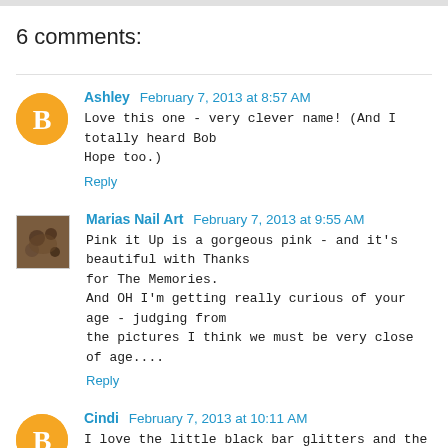6 comments:
Ashley February 7, 2013 at 8:57 AM
Love this one - very clever name! (And I totally heard Bob Hope too.)
Reply
Marias Nail Art February 7, 2013 at 9:55 AM
Pink it Up is a gorgeous pink - and it's beautiful with Thanks for The Memories.
And OH I'm getting really curious of your age - judging from the pictures I think we must be very close of age....
Reply
Cindi February 7, 2013 at 10:11 AM
I love the little black bar glitters and the diamonds bits in